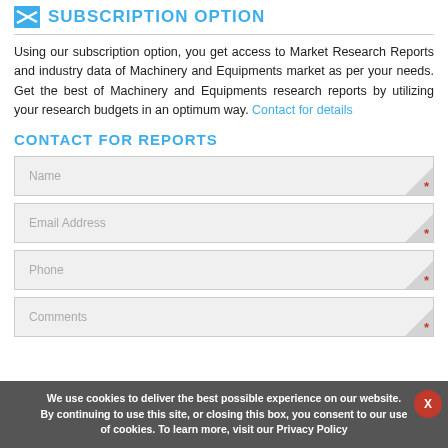SUBSCRIPTION OPTION
Using our subscription option, you get access to Market Research Reports and industry data of Machinery and Equipments market as per your needs. Get the best of Machinery and Equipments research reports by utilizing your research budgets in an optimum way. Contact for details
CONTACT FOR REPORTS
Name [required]
Email Address [required]
Phone [required]
Comments [required]
We use cookies to deliver the best possible experience on our website. By continuing to use this site, or closing this box, you consent to our use of cookies. To learn more, visit our Privacy Policy